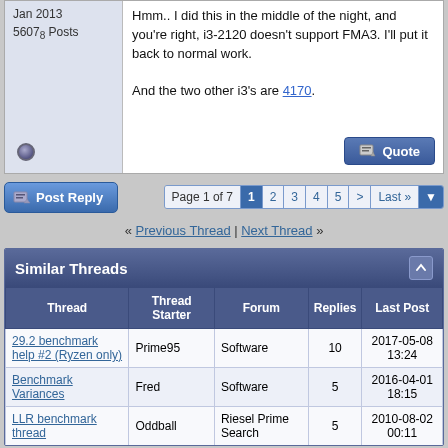Jan 2013
5607₈ Posts
Hmm.. I did this in the middle of the night, and you're right, i3-2120 doesn't support FMA3. I'll put it back to normal work.

And the two other i3's are 4170.
Post Reply   Page 1 of 7  1  2  3  4  5  >  Last »
« Previous Thread | Next Thread »
| Thread | Thread Starter | Forum | Replies | Last Post |
| --- | --- | --- | --- | --- |
| 29.2 benchmark help #2 (Ryzen only) | Prime95 | Software | 10 | 2017-05-08 13:24 |
| Benchmark Variances | Fred | Software | 5 | 2016-04-01 18:15 |
| LLR benchmark thread | Oddball | Riesel Prime Search | 5 | 2010-08-02 00:11 |